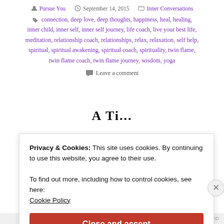Pursue You  September 14, 2015  Inner Conversations
connection, deep love, deep thoughts, happiness, heal, healing, inner child, inner self, inner self journey, life coach, live your best life, meditation, relationship coach, relationships, relax, relaxation, self help, spiritual, spiritual awakening, spiritual coach, spirituality, twin flame, twin flame coach, twin flame journey, wisdom, yoga
Leave a comment
Privacy & Cookies: This site uses cookies. By continuing to use this website, you agree to their use.
To find out more, including how to control cookies, see here:
Cookie Policy
Close and accept